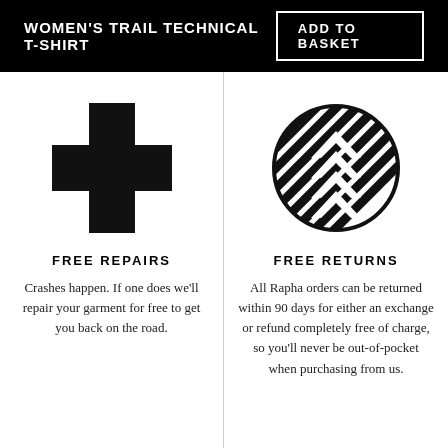WOMEN'S TRAIL TECHNICAL T-SHIRT
ADD TO BASKET
[Figure (illustration): Black plus/cross medical symbol icon]
FREE REPAIRS
Crashes happen. If one does we'll repair your garment for free to get you back on the road.
[Figure (illustration): Circular black and white diagonal stripe pattern logo]
FREE RETURNS
All Rapha orders can be returned within 90 days for either an exchange or refund completely free of charge, so you'll never be out-of-pocket when purchasing from us.